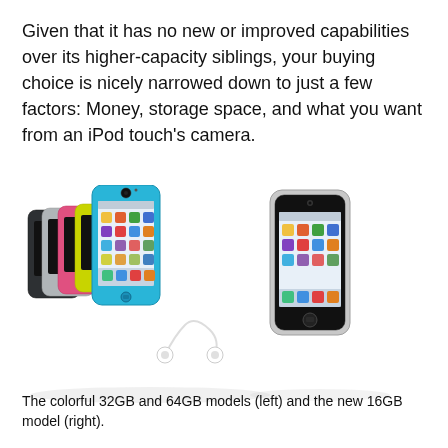Given that it has no new or improved capabilities over its higher-capacity siblings, your buying choice is nicely narrowed down to just a few factors: Money, storage space, and what you want from an iPod touch's camera.
[Figure (photo): Left image: colorful iPod touch 32GB and 64GB models in multiple colors (black, silver, pink, yellow, blue) fanned out with the blue model in front, plus white earbuds. Right image: new 16GB iPod touch model in silver/black.]
The colorful 32GB and 64GB models (left) and the new 16GB model (right).